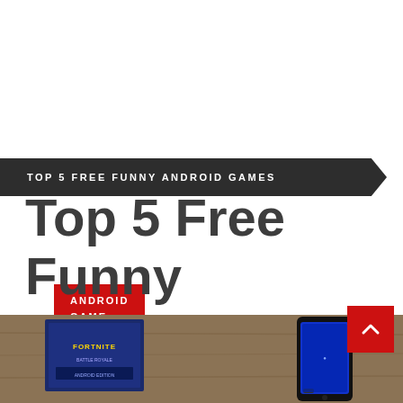TOP 5 FREE FUNNY ANDROID GAMES
ANDROID GAME
Top 5 Free Funny Android Games
Posted on: January 31, 2019    By : Rose Quinn
[Figure (photo): Bottom portion of a photo showing a Fortnite box and a smartphone on a wooden surface]